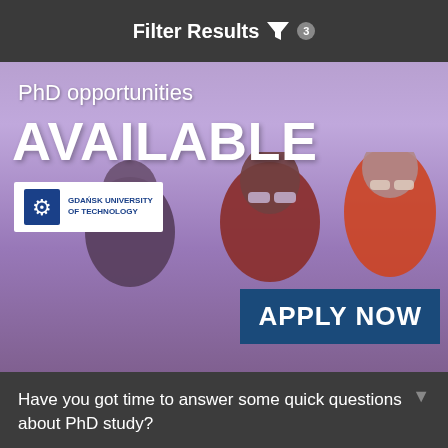Filter Results ▼ 3
[Figure (photo): Advertisement banner for Gdańsk University of Technology PhD opportunities. Shows text 'PhD opportunities AVAILABLE', university logo, three people wearing VR/AR glasses against a purple sky background, and 'APPLY NOW' button.]
Have you got time to answer some quick questions about PhD study?
OK!
Sorry, not right now
our privacy policy